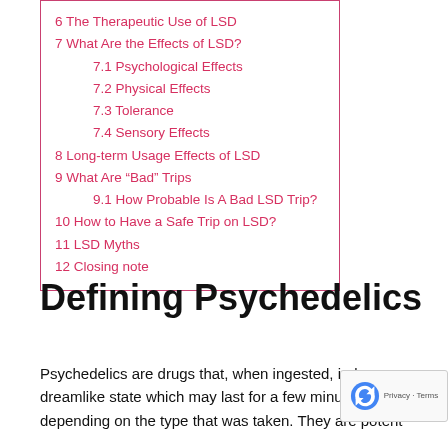6 The Therapeutic Use of LSD
7 What Are the Effects of LSD?
7.1 Psychological Effects
7.2 Physical Effects
7.3 Tolerance
7.4 Sensory Effects
8 Long-term Usage Effects of LSD
9 What Are “Bad” Trips
9.1 How Probable Is A Bad LSD Trip?
10 How to Have a Safe Trip on LSD?
11 LSD Myths
12 Closing note
Defining Psychedelics
Psychedelics are drugs that, when ingested, induce a dreamlike state which may last for a few minutes or depending on the type that was taken. They are potent